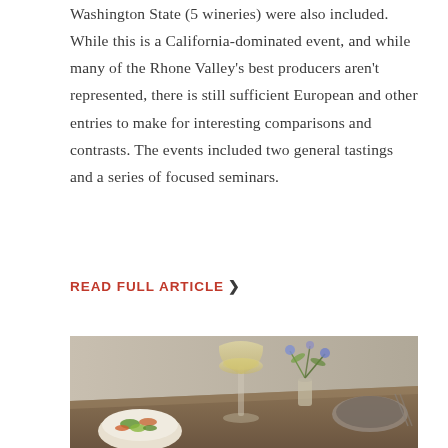Washington State (5 wineries) were also included. While this is a California-dominated event, and while many of the Rhone Valley's best producers aren't represented, there is still sufficient European and other entries to make for interesting comparisons and contrasts. The events included two general tastings and a series of focused seminars.
READ FULL ARTICLE ❯
[Figure (photo): A rustic dining table scene with a glass of white wine, a bowl of salad with green vegetables, a vase of wildflowers, and plates in the background, photographed in warm natural light.]